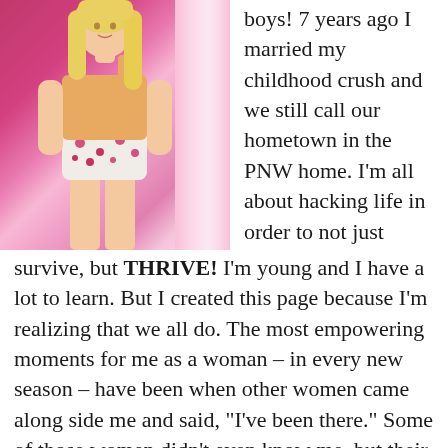[Figure (photo): Photo of a young blonde woman wearing a yellow/tan tank top and white floral shorts, standing against a bright pink background/wall.]
boys! 7 years ago I married my childhood crush and we still call our hometown in the PNW home. I'm all about hacking life in order to not just survive, but THRIVE! I'm young and I have a lot to learn. But I created this page because I'm realizing that we all do. The most empowering moments for me as a woman – in every new season – have been when other women came along side me and said, "I've been there." Some of those women didn't even know me, but their honest words in book, podcast, or post form reminded me that I wasn't alone in this. Life is a learn-as-you-go adventure and we don't have to go it alone. It's richer with community. I think that's what we're all looking for as we try to figure out how to gracefully navigate the days in the many roles